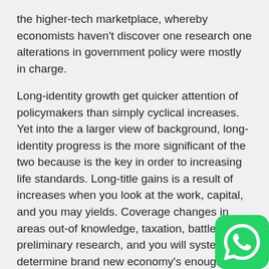the higher-tech marketplace, whereby economists haven't discover one research one alterations in government policy were mostly in charge.
Long-identity growth get quicker attention of policymakers than simply cyclical increases. Yet into the a larger view of background, long-identity progress is the more significant of the two because is the key in order to increasing life standards. Long-title gains is a result of increases when you look at the work, capital, and you may yields. Coverage changes in areas out-of knowledge, taxation, battle, preliminary research, and you will system is determine brand new economy's enough time-title growth rate, however, at the margins. Long-title progress has actually altered hardly any more a lot of You.S. background even after a general array of policy changes. One to simple truth is reduced alarming whenever you to considers your head contributor in order to much time-title
[Figure (other): WhatsApp logo icon — green rounded square with white phone handset symbol]